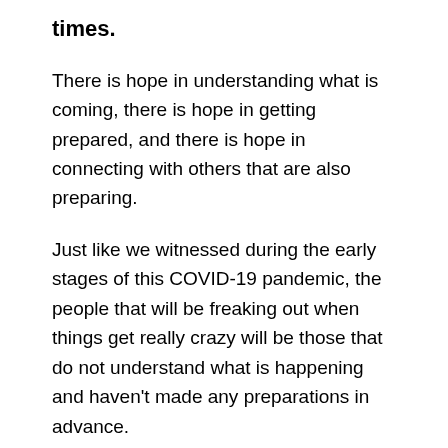times.
There is hope in understanding what is coming, there is hope in getting prepared, and there is hope in connecting with others that are also preparing.
Just like we witnessed during the early stages of this COVID-19 pandemic, the people that will be freaking out when things get really crazy will be those that do not understand what is happening and haven’t made any preparations in advance.
Millions will not be able to handle the